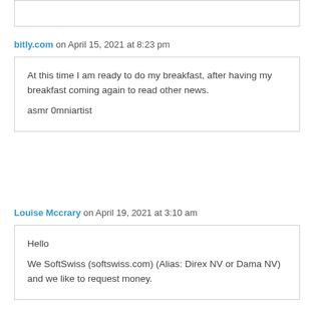bitly.com on April 15, 2021 at 8:23 pm
At this time I am ready to do my breakfast, after having my breakfast coming again to read other news.
asmr 0mniartist
Louise Mccrary on April 19, 2021 at 3:10 am
Hello

We SoftSwiss (softswiss.com) (Alias: Direx NV or Dama NV) and we like to request money.